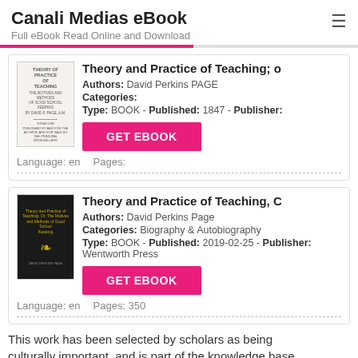Canali Medias eBook
Full eBook Read Online and Download
Theory and Practice of Teaching; o
Authors: David Perkins PAGE
Categories:
Type: BOOK - Published: 1847 - Publisher:
Language: en
Pages:
Theory and Practice of Teaching, C
Authors: David Perkins Page
Categories: Biography & Autobiography
Type: BOOK - Published: 2019-02-25 - Publisher: Wentworth Press
Language: en
Pages: 350
This work has been selected by scholars as being culturally important, and is part of the knowledge base